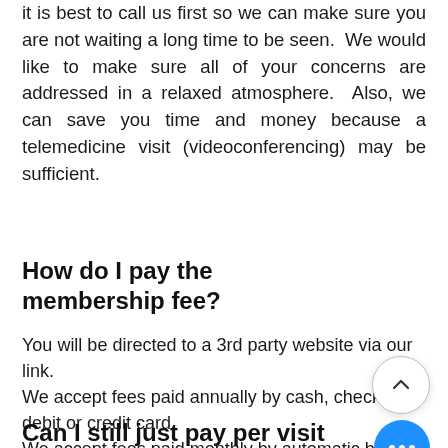it is best to call us first so we can make sure you are not waiting a long time to be seen. We would like to make sure all of your concerns are addressed in a relaxed atmosphere. Also, we can save you time and money because a telemedicine visit (videoconferencing) may be sufficient.
How do I pay the membership fee?
You will be directed to a 3rd party website via our link.
We accept fees paid annually by cash, check, debit or credit card.
We accept fees paid monthly by automatic bank debit (ACH authorization) or credit card.
Can I still just pay per visit